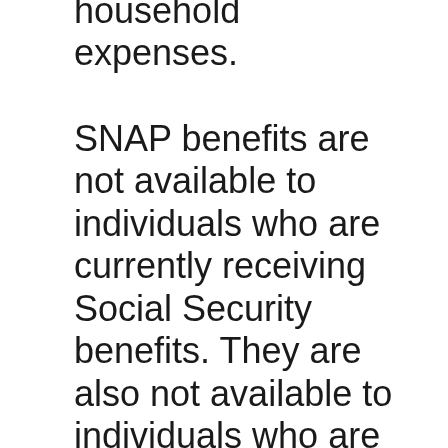household expenses.
SNAP benefits are not available to individuals who are currently receiving Social Security benefits. They are also not available to individuals who are incarcerated, are subject to a work requirement, or are receiving benefits from another government program. To begin the application procedure, one should obtain current information. SNAP benefits are provided to qualified households by a variety of groups, including local state